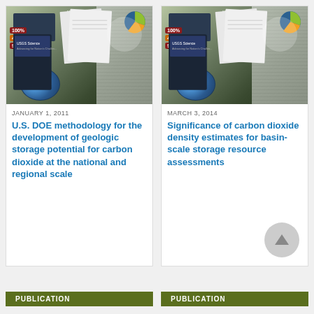[Figure (photo): Photo of USGS Science publications and reports fanned out]
JANUARY 1, 2011
U.S. DOE methodology for the development of geologic storage potential for carbon dioxide at the national and regional scale
[Figure (photo): Photo of USGS Science publications and reports fanned out]
MARCH 3, 2014
Significance of carbon dioxide density estimates for basin-scale storage resource assessments
PUBLICATION
PUBLICATION